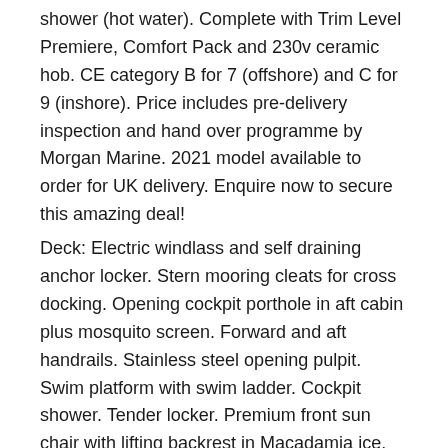shower (hot water). Complete with Trim Level Premiere, Comfort Pack and 230v ceramic hob. CE category B for 7 (offshore) and C for 9 (inshore). Price includes pre-delivery inspection and hand over programme by Morgan Marine. 2021 model available to order for UK delivery. Enquire now to secure this amazing deal!
Deck: Electric windlass and self draining anchor locker. Stern mooring cleats for cross docking. Opening cockpit porthole in aft cabin plus mosquito screen. Forward and aft handrails. Stainless steel opening pulpit. Swim platform with swim ladder. Cockpit shower. Tender locker. Premium front sun chair with lifting backrest in Macadamia ice. GRP Arch. Removable gas grill on mast located on the aft platform.
Cabin: Aft cabin with double berth, hanging locker,